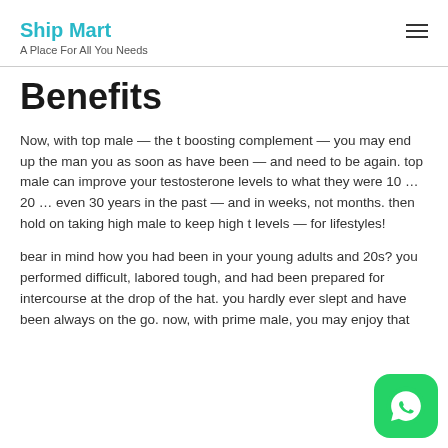Ship Mart
A Place For All You Needs
Benefits
Now, with top male — the t boosting complement — you may end up the man you as soon as have been — and need to be again. top male can improve your testosterone levels to what they were 10 … 20 … even 30 years in the past — and in weeks, not months. then hold on taking high male to keep high t levels — for lifestyles!
bear in mind how you had been in your young adults and 20s? you performed difficult, labored tough, and had been prepared for intercourse at the drop of the hat. you hardly ever slept and have been always on the go. now, with prime male, you may enjoy that